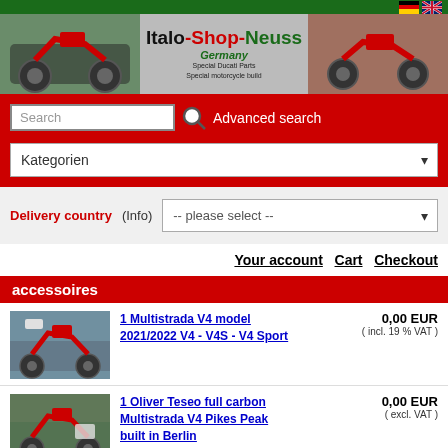[Figure (screenshot): Top navigation bar with German and UK flag icons]
[Figure (logo): Italo-Shop-Neuss Germany header banner with two motorcycle photos on left and right, logo text in center reading Italo-Shop-Neuss Germany Special Ducati Parts Special motorcycle build]
[Figure (screenshot): Red navigation bar with Search input, magnifying glass icon, Advanced search link, and Kategorien dropdown]
Delivery country (Info)  -- please select --
Your account   Cart   Checkout
accessoires
1 Multistrada V4 model 2021/2022 V4 - V4S - V4 Sport
0,00 EUR ( incl. 19 % VAT )
1 Oliver Teseo full carbon Multistrada V4 Pikes Peak built in Berlin
0,00 EUR ( excl. VAT )